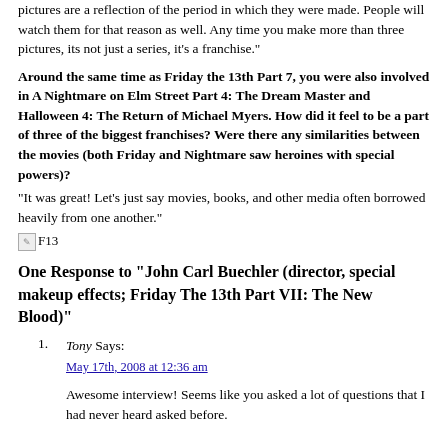pictures are a reflection of the period in which they were made. People will watch them for that reason as well. Any time you make more than three pictures, its not just a series, it’s a franchise.”
Around the same time as Friday the 13th Part 7, you were also involved in A Nightmare on Elm Street Part 4: The Dream Master and Halloween 4: The Return of Michael Myers. How did it feel to be a part of three of the biggest franchises? Were there any similarities between the movies (both Friday and Nightmare saw heroines with special powers)?
“It was great! Let’s just say movies, books, and other media often borrowed heavily from one another.”
[Figure (photo): Broken image placeholder labeled F13]
One Response to “John Carl Buechler (director, special makeup effects; Friday The 13th Part VII: The New Blood)”
Tony Says: May 17th, 2008 at 12:36 am
Awesome interview! Seems like you asked a lot of questions that I had never heard asked before.